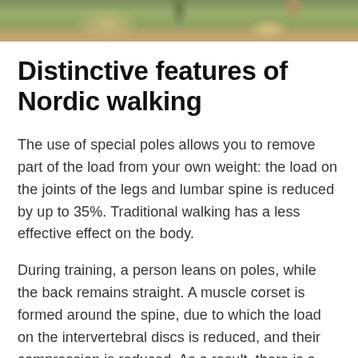[Figure (photo): Partial view of a person walking outdoors with Nordic walking poles, vegetation in background]
Distinctive features of Nordic walking
The use of special poles allows you to remove part of the load from your own weight: the load on the joints of the legs and lumbar spine is reduced by up to 35%. Traditional walking has a less effective effect on the body.
During training, a person leans on poles, while the back remains straight. A muscle corset is formed around the spine, due to which the load on the intervertebral discs is reduced, and their compression is reduced. As a result, there is a